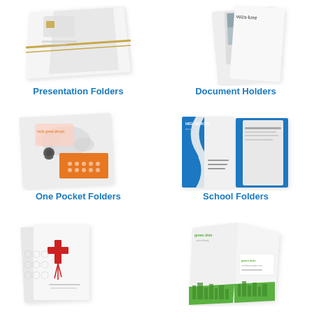[Figure (illustration): Presentation folder product image — white folder with gold diagonal stripe accent and a chip/card graphic, shown at an angle]
Presentation Folders
[Figure (illustration): Document holder product image — white tri-fold document holder shown open at an angle with paper sheets inside]
Document Holders
[Figure (illustration): One pocket folder product image — white folder shown open with a world map graphic and an orange business card]
One Pocket Folders
[Figure (illustration): School folder product image — blue and white school folder shown open with HIGH SCHOOL text and wavy blue design]
School Folders
[Figure (illustration): Medical themed folder — white folder with red cross and dots pattern design]
[Figure (illustration): Green themed folder — white folder with green cityscape/grass design and business cards]